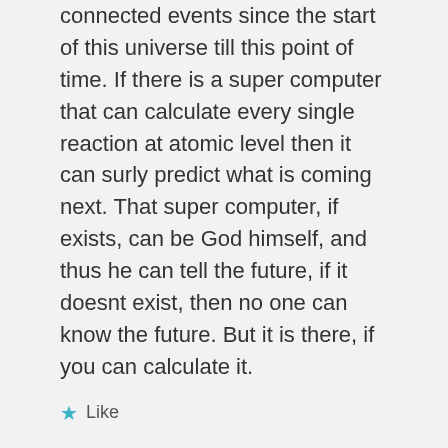connected events since the start of this universe till this point of time. If there is a super computer that can calculate every single reaction at atomic level then it can surly predict what is coming next. That super computer, if exists, can be God himself, and thus he can tell the future, if it doesnt exist, then no one can know the future. But it is there, if you can calculate it.
Like
No_Angel
FEBRUARY 4, 2008 AT 12:56 PM